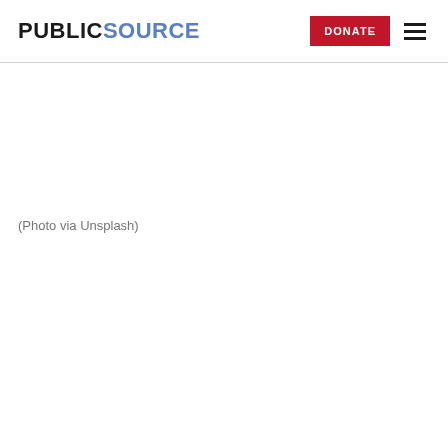PUBLICSOURCE | DONATE
(Photo via Unsplash)